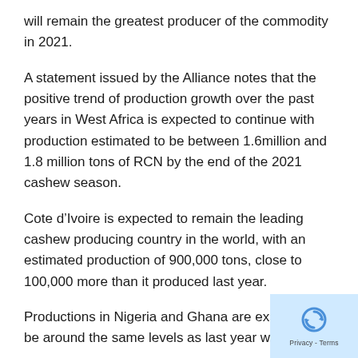will remain the greatest producer of the commodity in 2021.
A statement issued by the Alliance notes that the positive trend of production growth over the past years in West Africa is expected to continue with production estimated to be between 1.6million and 1.8 million tons of RCN by the end of the 2021 cashew season.
Cote d’Ivoire is expected to remain the leading cashew producing country in the world, with an estimated production of 900,000 tons, close to 100,000 more than it produced last year.
Productions in Nigeria and Ghana are expected to be around the same levels as last year without

significant increase or reduction.